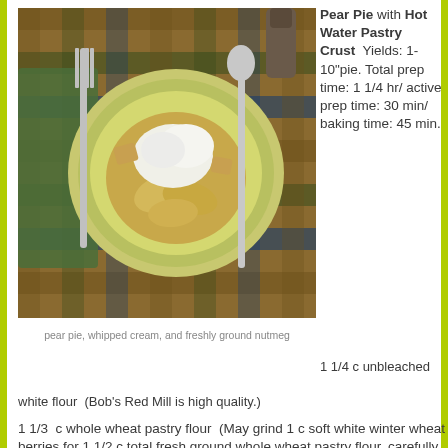[Figure (photo): Overhead view of a green plate with pear pie and whipped cream, silverware fork and spoon on a plaid placemat, with a pepper mill in background]
pear pie, whipped cream, and freshly ground nutmeg
Pear Pie with Hot Water Pastry Crust  Yields: 1-10"pie. Total prep time: 1 1/4 hr/ active prep time: 30 min/ baking time: 45 min.
1 1/4 c unbleached white flour  (Bob's Red Mill is high quality.)
1 1/3  c whole wheat pastry flour  (May grind 1 c soft white winter wheat berries for 1 1/2 c total fresh ground whole wheat pastry flour, carefully measuring needed amounts.)
1 tsp salt (Himalayan, pink, or Real Salt is critical for optimum health; a fine grind Himalayan salt is available very reasonably at Costco.)